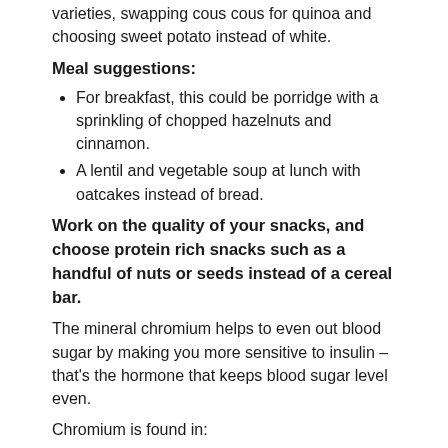varieties, swapping cous cous for quinoa and choosing sweet potato instead of white.
Meal suggestions:
For breakfast, this could be porridge with a sprinkling of chopped hazelnuts and cinnamon.
A lentil and vegetable soup at lunch with oatcakes instead of bread.
Work on the quality of your snacks, and choose protein rich snacks such as a handful of nuts or seeds instead of a cereal bar.
The mineral chromium helps to even out blood sugar by making you more sensitive to insulin – that's the hormone that keeps blood sugar level even.
Chromium is found in:
cinnamon
oats
romaine lettuce